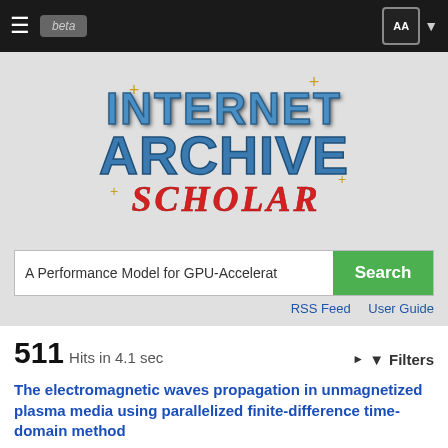Internet Archive Scholar (beta)
[Figure (logo): Internet Archive Scholar logo with stylized blue metallic text 'INTERNET ARCHIVE' and red script 'SCHOLAR' on a light gray background with gold star decorations]
A Performance Model for GPU-Accelerat
RSS Feed   User Guide
511 Hits in 4.1 sec
The electromagnetic waves propagation in unmagnetized plasma media using parallelized finite-difference time-domain method
Lang-lang Xiong, Xi-min Wang, Song Liu, Zhi-yun Peng, Shuang-ying Zhong
2018 Optik (Stuttgart)